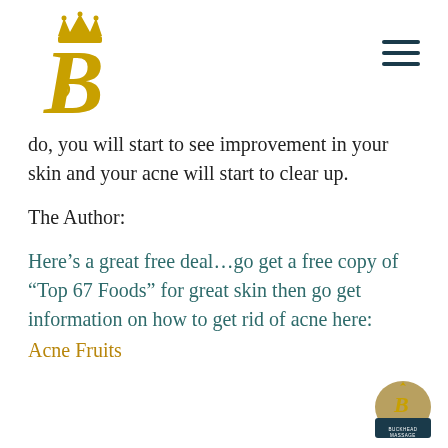[Figure (logo): Royal B logo with crown above a stylized letter B in gold, with a smaller script b inside]
[Figure (other): Hamburger menu icon with three dark horizontal lines]
do, you will start to see improvement in your skin and your acne will start to clear up.
The Author:
Here’s a great free deal…go get a free copy of “Top 67 Foods” for great skin then go get information on how to get rid of acne here: Acne Fruits
[Figure (logo): Small circular badge with B logo and text Buckhead Massage at bottom right of page]